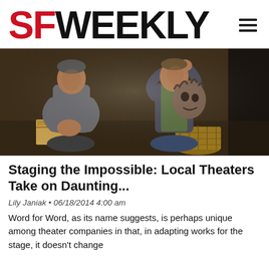SF WEEKLY
[Figure (photo): Two men sitting on a dark stage floor. The man on the left wears a gray shirt and is looking down at something in his hands. The man on the right wears a vest and is holding up a grotesque puppet or mask head, with a wicker basket beside him.]
Staging the Impossible: Local Theaters Take on Daunting...
Lily Janiak • 06/18/2014 4:00 am
Word for Word, as its name suggests, is perhaps unique among theater companies in that, in adapting works for the stage, it doesn't change...